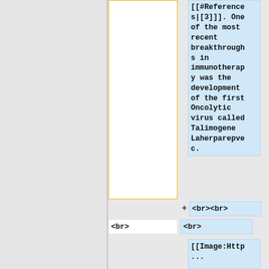[[#References|[3]]]. One of the most recent breakthroughs in immunotherapy was the development of the first Oncolytic virus called Talimogene Laherparepvec.
<br><br>
<br>
<br>
[[Image:Http...